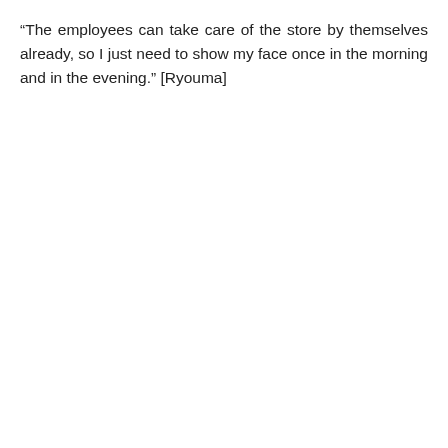“The employees can take care of the store by themselves already, so I just need to show my face once in the morning and in the evening.” [Ryouma]